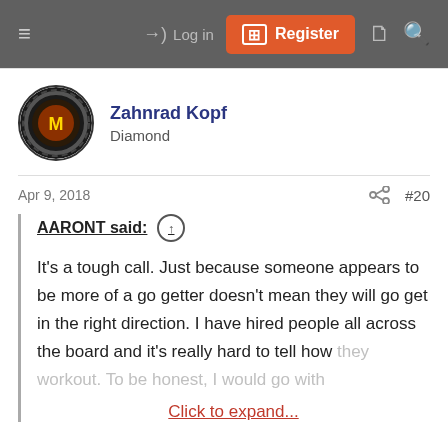≡  →) Log in  [+] Register  🗋  🔍
Zahnrad Kopf
Diamond
Apr 9, 2018  #20
AARONT said: ↑

It's a tough call. Just because someone appears to be more of a go getter doesn't mean they will go get in the right direction. I have hired people all across the board and it's really hard to tell how they workout. To be honest, I would go with
Click to expand...